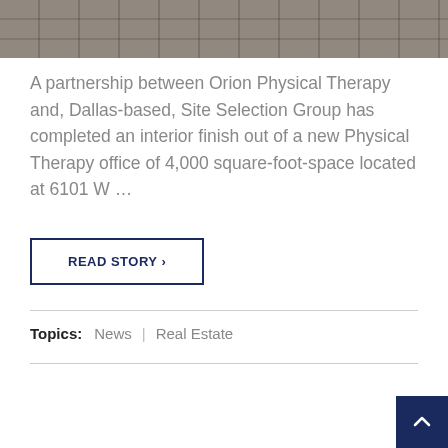[Figure (photo): Top portion of a photo showing dark wood/tile flooring pattern]
A partnership between Orion Physical Therapy and, Dallas-based, Site Selection Group has completed an interior finish out of a new Physical Therapy office of 4,000 square-foot-space located at 6101 W …
READ STORY ›
Topics: News | Real Estate